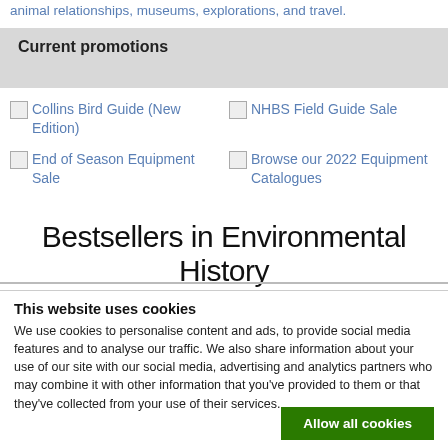animal relationships, museums, explorations, and travel.
Current promotions
Collins Bird Guide (New Edition)
NHBS Field Guide Sale
End of Season Equipment Sale
Browse our 2022 Equipment Catalogues
Bestsellers in Environmental History
This website uses cookies
We use cookies to personalise content and ads, to provide social media features and to analyse our traffic. We also share information about your use of our site with our social media, advertising and analytics partners who may combine it with other information that you've provided to them or that they've collected from your use of their services.
Allow all cookies